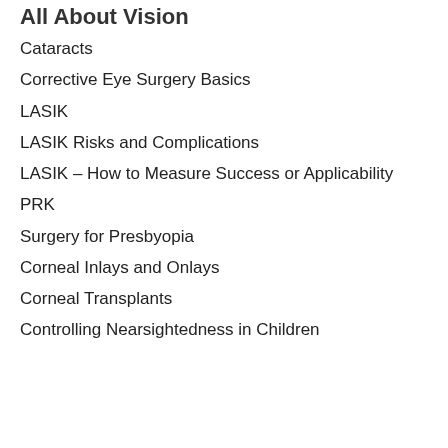All About Vision
Cataracts
Corrective Eye Surgery Basics
LASIK
LASIK Risks and Complications
LASIK – How to Measure Success or Applicability
PRK
Surgery for Presbyopia
Corneal Inlays and Onlays
Corneal Transplants
Controlling Nearsightedness in Children